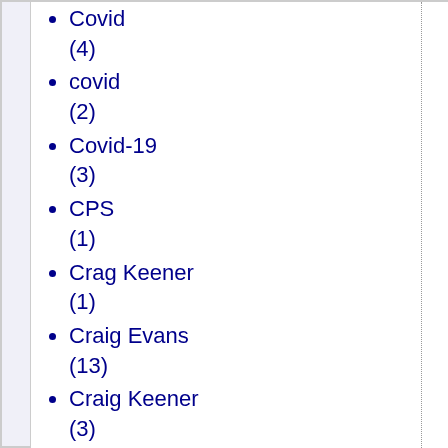Covid (4)
covid (2)
Covid-19 (3)
CPS (1)
Crag Keener (1)
Craig Evans (13)
Craig Keener (3)
creationism (1)
Creativity (1)
credit default swaps (2)